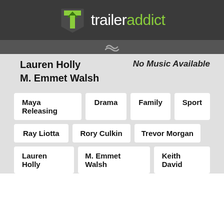traileraddict
No Music Available
Lauren Holly
M. Emmet Walsh
Maya Releasing
Drama
Family
Sport
Ray Liotta
Rory Culkin
Trevor Morgan
Lauren Holly
M. Emmet Walsh
Keith David